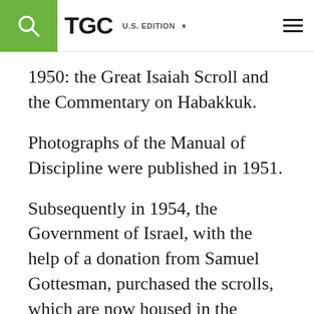TGC U.S. EDITION
1950: the Great Isaiah Scroll and the Commentary on Habakkuk.
Photographs of the Manual of Discipline were published in 1951.
Subsequently in 1954, the Government of Israel, with the help of a donation from Samuel Gottesman, purchased the scrolls, which are now housed in the Shrine of the Book in Jerusalem.